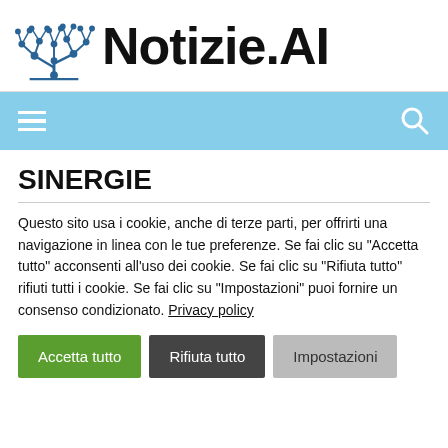Notizie.AI
SINERGIE
Questo sito usa i cookie, anche di terze parti, per offrirti una navigazione in linea con le tue preferenze. Se fai clic su "Accetta tutto" acconsenti all'uso dei cookie. Se fai clic su "Rifiuta tutto" rifiuti tutti i cookie. Se fai clic su "Impostazioni" puoi fornire un consenso condizionato. Privacy policy
Accetta tutto
Rifiuta tutto
Impostazioni